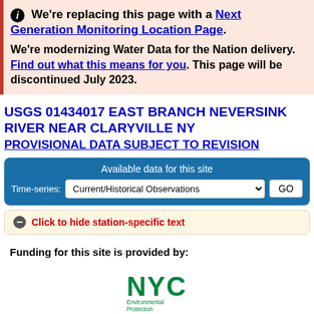We're replacing this page with a Next Generation Monitoring Location Page. We're modernizing Water Data for the Nation delivery. Find out what this means for you. This page will be discontinued July 2023.
USGS 01434017 EAST BRANCH NEVERSINK RIVER NEAR CLARYVILLE NY
PROVISIONAL DATA SUBJECT TO REVISION
Available data for this site Time-series: Current/Historical Observations GO
Click to hide station-specific text
Funding for this site is provided by:
[Figure (logo): NYC Environmental Protection logo]
NYC Department of Environmental Protection